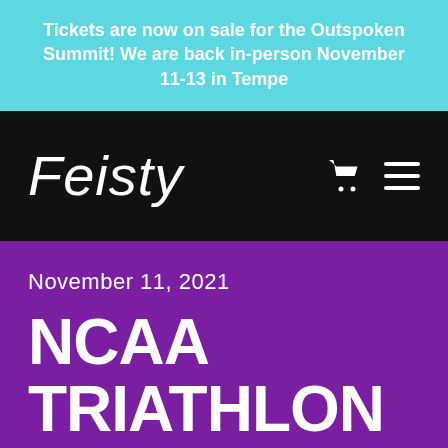Tickets are now on sale for the Outspoken Summit! We are back in-person November 11-13 in Tempe
[Figure (logo): Feisty logo in white script font on black background with shopping cart and hamburger menu icons]
November 11, 2021
NCAA TRIATHLON